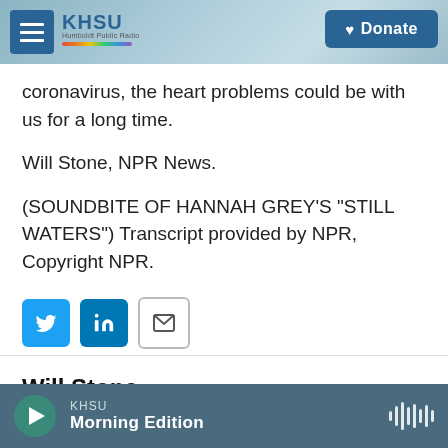KHSU — Donate
coronavirus, the heart problems could be with us for a long time.
Will Stone, NPR News.
(SOUNDBITE OF HANNAH GREY'S "STILL WATERS") Transcript provided by NPR, Copyright NPR.
[Figure (other): Social sharing buttons: Twitter (blue), LinkedIn (blue), Email (outlined)]
Will Stone
KHSU Morning Edition — audio player bar with play button and waveform icon